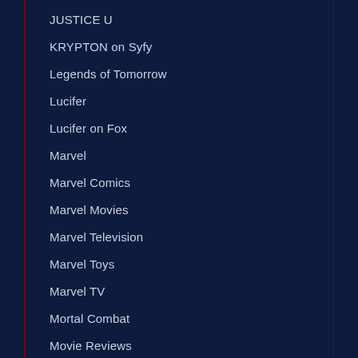JUSTICE U
KRYPTON on Syfy
Legends of Tomorrow
Lucifer
Lucifer on Fox
Marvel
Marvel Comics
Marvel Movies
Marvel Television
Marvel Toys
Marvel TV
Mortal Combat
Movie Reviews
New York Comic Con 2017
NYCC 2018